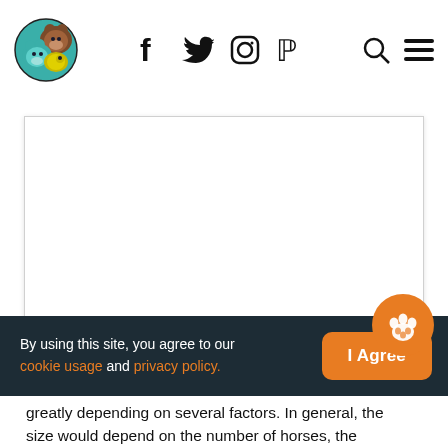[Figure (logo): Pet website logo: circular icon with cartoon animals (cat, dog, parrot) in teal, brown, and yellow-green]
f  Twitter  Instagram  Pinterest  [search]  [menu]
[Figure (other): Large white blank content/ad area with light border]
By using this site, you agree to our cookie usage and privacy policy.
[Figure (other): Orange paw print icon in circular button above I Agree button]
I Agree
greatly depending on several factors. In general, the size would depend on the number of horses, the